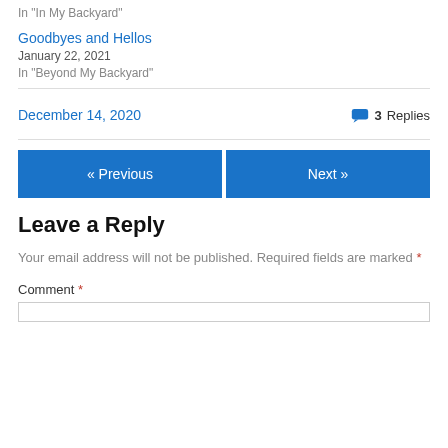In "In My Backyard"
Goodbyes and Hellos
January 22, 2021
In "Beyond My Backyard"
December 14, 2020   💬 3 Replies
« Previous   Next »
Leave a Reply
Your email address will not be published. Required fields are marked *
Comment *